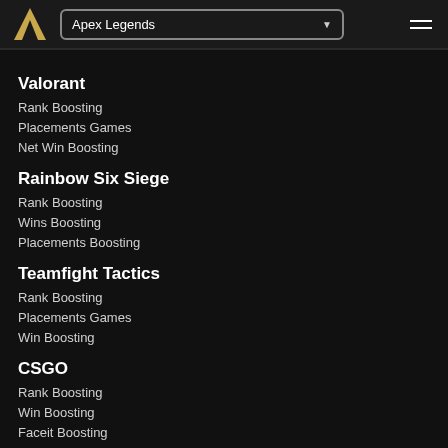Apex Legends
Valorant
Rank Boosting
Placements Games
Net Win Boosting
Rainbow Six Siege
Rank Boosting
Wins Boosting
Placements Boosting
Teamfight Tactics
Rank Boosting
Placements Games
Win Boosting
CSGO
Rank Boosting
Win Boosting
Faceit Boosting